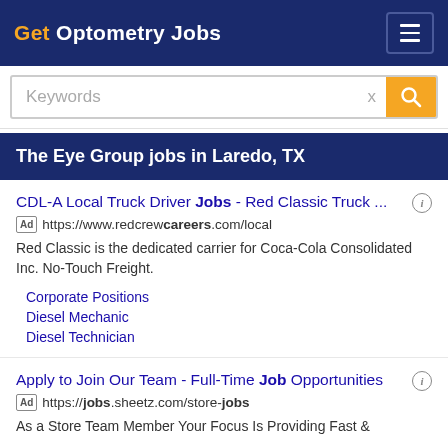Get Optometry Jobs
Keywords
The Eye Group jobs in Laredo, TX
CDL-A Local Truck Driver Jobs - Red Classic Truck ... https://www.redcrewcareers.com/local Red Classic is the dedicated carrier for Coca-Cola Consolidated Inc. No-Touch Freight. Corporate Positions Diesel Mechanic Diesel Technician
Apply to Join Our Team - Full-Time Job Opportunities https://jobs.sheetz.com/store-jobs As a Store Team Member Your Focus Is Providing Fast &